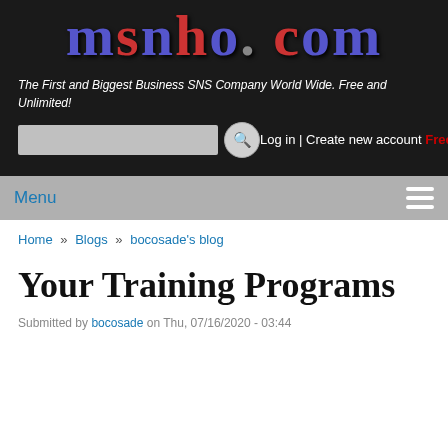msnho.com
The First and Biggest Business SNS Company World Wide. Free and Unlimited!
Log in | Create new account Free!
Menu
Home » Blogs » bocosade's blog
Your Training Programs
Submitted by bocosade on Thu, 07/16/2020 - 03:44